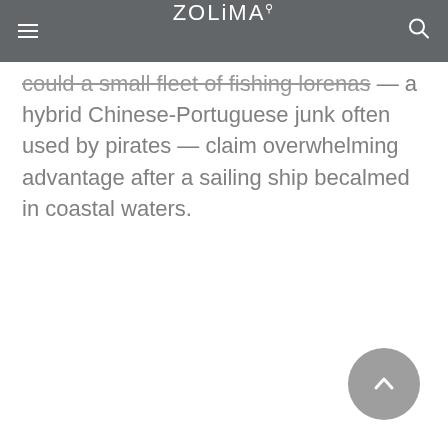ZOLIMA
could a small fleet of fishing lorenas — a hybrid Chinese-Portuguese junk often used by pirates — claim overwhelming advantage after a sailing ship becalmed in coastal waters.